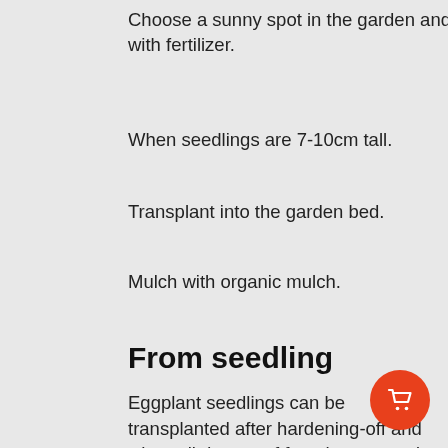Choose a sunny spot in the garden and enrich with fertilizer.
When seedlings are 7-10cm tall.
Transplant into the garden bed.
Mulch with organic mulch.
From seedling
Eggplant seedlings can be transplanted after hardening-off and when all danger of frost has passed in your area.
Seedlings should be spaced 45–60 cm (18–24 in) apart, depending on variety, allowing a further 60–90 cm (24–36 in) between rows.